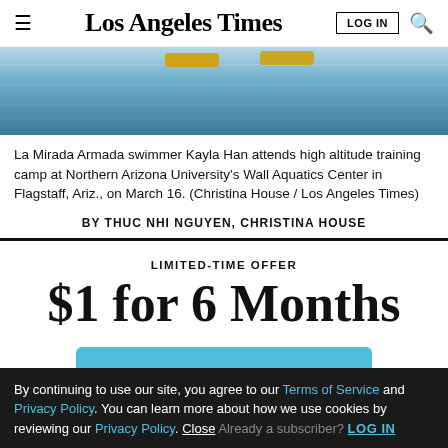Los Angeles Times
[Figure (photo): Swimming pool water surface with lane dividers visible, showing blue water with light reflections and a yellow lane buoy]
La Mirada Armada swimmer Kayla Han attends high altitude training camp at Northern Arizona University's Wall Aquatics Center in Flagstaff, Ariz., on March 16. (Christina House / Los Angeles Times)
BY THUC NHI NGUYEN, CHRISTINA HOUSE
LIMITED-TIME OFFER
$1 for 6 Months
SUBSCRIBE NOW
By continuing to use our site, you agree to our Terms of Service and Privacy Policy. You can learn more about how we use cookies by reviewing our Privacy Policy. Close Already a subscriber? LOG IN